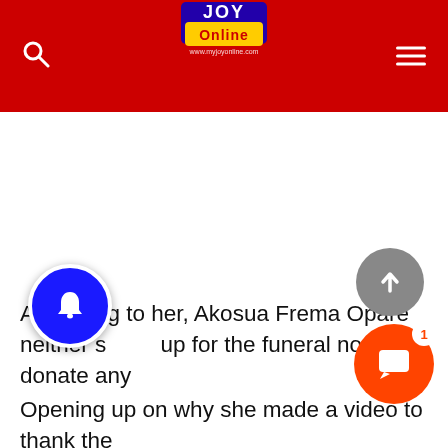JOY Online
[Figure (screenshot): Large white/blank advertisement or media area below the navigation header]
According to her, Akosua Frema Opare neither showed up for the funeral nor donate any
Opening up on why she made a video to thank the